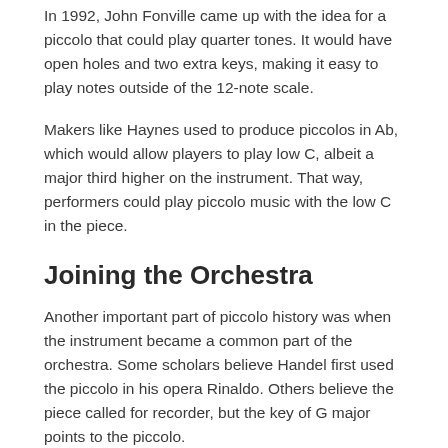In 1992, John Fonville came up with the idea for a piccolo that could play quarter tones. It would have open holes and two extra keys, making it easy to play notes outside of the 12-note scale.
Makers like Haynes used to produce piccolos in Ab, which would allow players to play low C, albeit a major third higher on the instrument. That way, performers could play piccolo music with the low C in the piece.
Joining the Orchestra
Another important part of piccolo history was when the instrument became a common part of the orchestra. Some scholars believe Handel first used the piccolo in his opera Rinaldo. Others believe the piece called for recorder, but the key of G major points to the piccolo.
J.S. Bach used the piccolo in a cantata, while Rameau used the instrument in the overture to Acanthe and Cephise. Mozart used the piccolo in The Magic Flute as well as in The Abduction from the Seraglio.